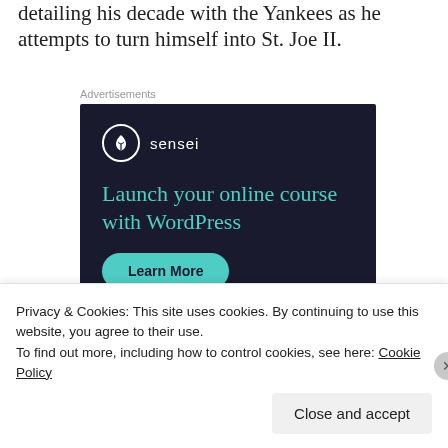detailing his decade with the Yankees as he attempts to turn himself into St. Joe II.
Advertisements
[Figure (screenshot): Sensei advertisement with dark navy background. Shows Sensei logo (tree icon in circle) with text 'Launch your online course with WordPress' in teal, and a 'Learn More' teal pill button.]
Privacy & Cookies: This site uses cookies. By continuing to use this website, you agree to their use. To find out more, including how to control cookies, see here: Cookie Policy
Close and accept